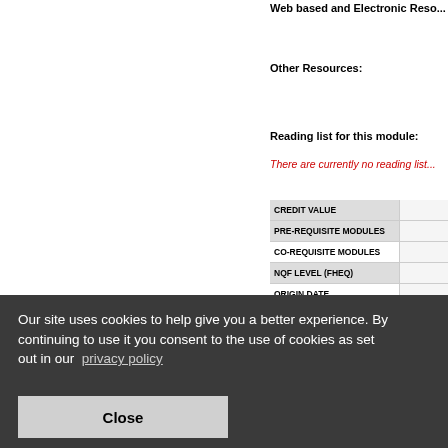Web based and Electronic Reso...
Other Resources:
Reading list for this module:
There are currently no reading list...
| CREDIT VALUE |  |
| --- | --- |
| PRE-REQUISITE MODULES |  |
| CO-REQUISITE MODULES |  |
| NQF LEVEL (FHEQ) |  |
| ORIGIN DATE |  |
| KEY WORDS SEARCH |  |
Our site uses cookies to help give you a better experience. By continuing to use it you consent to the use of cookies as set out in our privacy policy
Close